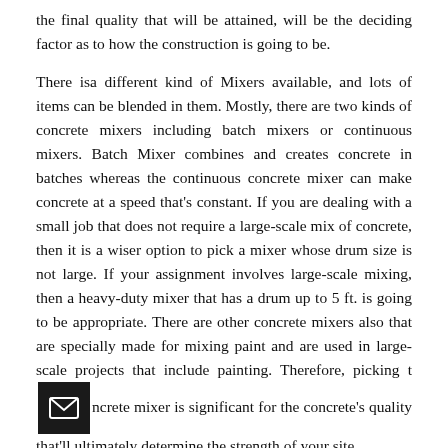the final quality that will be attained, will be the deciding factor as to how the construction is going to be.
There isa different kind of Mixers available, and lots of items can be blended in them. Mostly, there are two kinds of concrete mixers including batch mixers or continuous mixers. Batch Mixer combines and creates concrete in batches whereas the continuous concrete mixer can make concrete at a speed that's constant. If you are dealing with a small job that does not require a large-scale mix of concrete, then it is a wiser option to pick a mixer whose drum size is not large. If your assignment involves large-scale mixing, then a heavy-duty mixer that has a drum up to 5 ft. is going to be appropriate. There are other concrete mixers also that are specially made for mixing paint and are used in large-scale projects that include painting. Therefore, picking the concrete mixer is significant for the concrete's quality that'll ultimately determine the strength of your site.